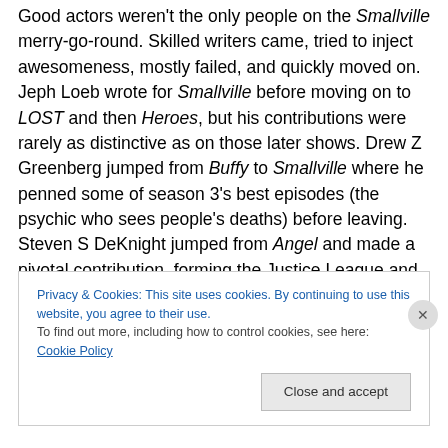Good actors weren't the only people on the Smallville merry-go-round. Skilled writers came, tried to inject awesomeness, mostly failed, and quickly moved on. Jeph Loeb wrote for Smallville before moving on to LOST and then Heroes, but his contributions were rarely as distinctive as on those later shows. Drew Z Greenberg jumped from Buffy to Smallville where he penned some of season 3's best episodes (the psychic who sees people's deaths) before leaving. Steven S DeKnight jumped from Angel and made a pivotal contribution, forming the Justice League and penning damn near ¼ of season 5 to entice
Privacy & Cookies: This site uses cookies. By continuing to use this website, you agree to their use.
To find out more, including how to control cookies, see here: Cookie Policy